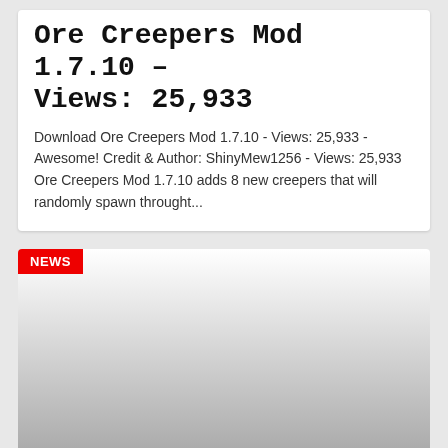Ore Creepers Mod 1.7.10 – Views: 25,933
Download Ore Creepers Mod 1.7.10 - Views: 25,933 - Awesome! Credit & Author: ShinyMew1256 - Views: 25,933 Ore Creepers Mod 1.7.10 adds 8 new creepers that will randomly spawn throught...
[Figure (other): News card image with gradient from white to dark gray, with a NEWS badge in the top-left corner, and a footer showing 85 views, 0 comments, and 4 empty stars]
Ice Craft Mew Mod 1.7.10...